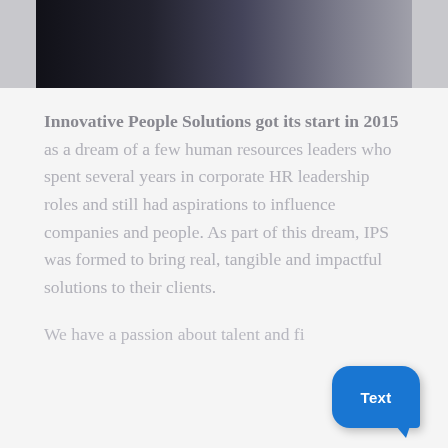[Figure (photo): Business people shaking hands, partial image showing suits and a document, dark/grey tones]
Innovative People Solutions got its start in 2015 as a dream of a few human resources leaders who spent several years in corporate HR leadership roles and still had aspirations to influence companies and people. As part of this dream, IPS was formed to bring real, tangible and impactful solutions to their clients.
We have a passion about talent and fi... believing that if you can get the right...